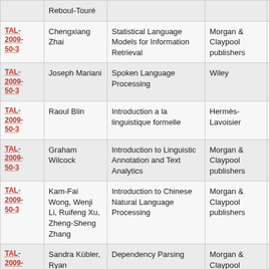| ID | Author | Title | Publisher | Year |
| --- | --- | --- | --- | --- |
|  | Reboul-Touré |  |  |  |
| TAL-2009-50-3 | Chengxiang Zhai | Statistical Language Models for Information Retrieval | Morgan & Claypool publishers | 2009 |
| TAL-2009-50-3 | Joseph Mariani | Spoken Language Processing | Wiley | 2009 |
| TAL-2009-50-3 | Raoul Blin | Introduction a la linguistique formelle | Hermès-Lavoisier | 2009 |
| TAL-2009-50-3 | Graham Wilcock | Introduction to Linguistic Annotation and Text Analytics | Morgan & Claypool publishers | 2009 |
| TAL-2009-50-3 | Kam-Fai Wong, Wenji Li, Ruifeng Xu, Zheng-Sheng Zhang | Introduction to Chinese Natural Language Processing | Morgan & Claypool publishers | 2010 |
| TAL-2009-50-3 | Sandra Kübler, Ryan McDonald, | Dependency Parsing | Morgan & Claypool publishers | 2009 |